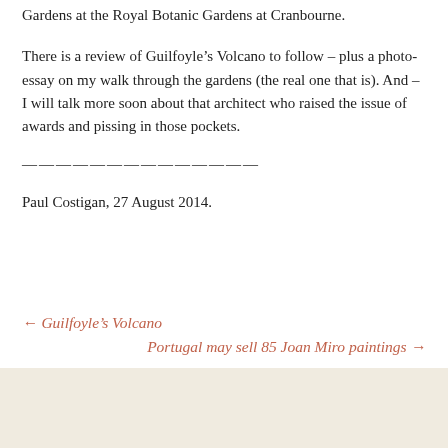Gardens at the Royal Botanic Gardens at Cranbourne.
There is a review of Guilfoyle’s Volcano to follow – plus a photo-essay on my walk through the gardens (the real one that is). And – I will talk more soon about that architect who raised the issue of awards and pissing in those pockets.
——————————————
Paul Costigan, 27 August 2014.
← Guilfoyle’s Volcano
Portugal may sell 85 Joan Miro paintings →